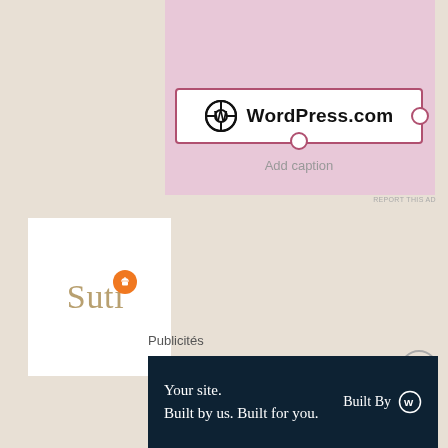[Figure (screenshot): Pink WordPress.com advertisement area with WordPress.com button showing logo and text, handle dots on right and bottom, and Add caption text below]
Add caption
[Figure (logo): Suti logo on white background — gold/tan serif text 'Suti' with orange circle containing hanger icon replacing the dot on the i]
Publicités
[Figure (screenshot): Dark navy blue advertisement banner reading 'Your site. Built by us. Built for you.' on left and 'Built By' with WordPress logo on right]